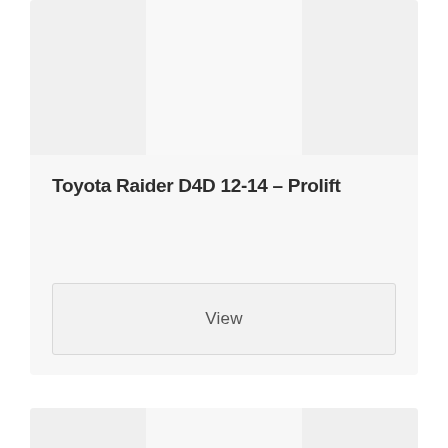[Figure (other): Product card top section with placeholder image columns (light gray) for Toyota Raider D4D 12-14 – Prolift]
Toyota Raider D4D 12-14 – Prolift
View
[Figure (other): Product card bottom section with placeholder image columns and COMING SOON text in gold/yellow]